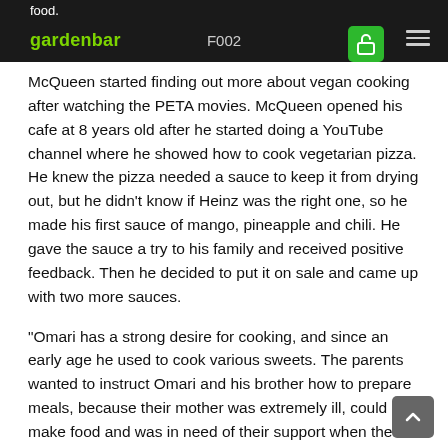food. gardenbar F002
McQueen started finding out more about vegan cooking after watching the PETA movies. McQueen opened his cafe at 8 years old after he started doing a YouTube channel where he showed how to cook vegetarian pizza. He knew the pizza needed a sauce to keep it from drying out, but he didn't know if Heinz was the right one, so he made his first sauce of mango, pineapple and chili. He gave the sauce a try to his family and received positive feedback. Then he decided to put it on sale and came up with two more sauces.
"Omari has a strong desire for cooking, and since an early age he used to cook various sweets. The parents wanted to instruct Omari and his brother how to prepare meals, because their mother was extremely ill, could not make food and was in need of their support when the father had a late night job. Omari's passion became stronger when he started making his dishes so that the family could enjoy them. He wanted to find out more about veganism and he chose to become a vegan and share